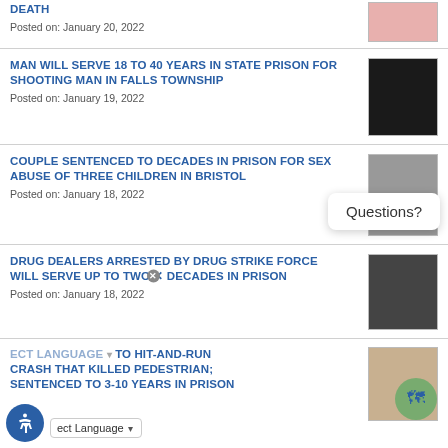DEATH
Posted on: January 20, 2022
MAN WILL SERVE 18 TO 40 YEARS IN STATE PRISON FOR SHOOTING MAN IN FALLS TOWNSHIP
Posted on: January 19, 2022
COUPLE SENTENCED TO DECADES IN PRISON FOR SEX ABUSE OF THREE CHILDREN IN BRISTOL
Posted on: January 18, 2022
DRUG DEALERS ARRESTED BY DRUG STRIKE FORCE WILL SERVE UP TO TWO DECADES IN PRISON
Posted on: January 18, 2022
TO HIT-AND-RUN CRASH THAT KILLED PEDESTRIAN; SENTENCED TO 3-10 YEARS IN PRISON